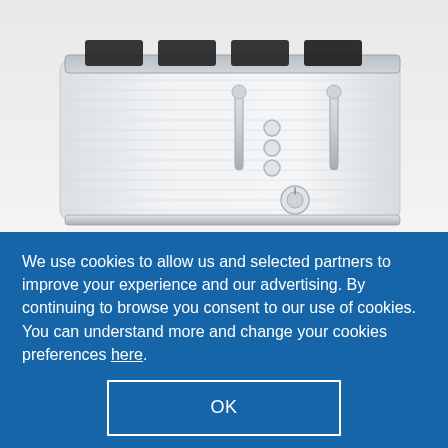[Figure (photo): A white 4-slice toaster with horizontal ribbed texture, silver/chrome accents, levers, buttons, and a control dial, photographed from a slightly elevated angle against a white background.]
We use cookies to allow us and selected partners to improve your experience and our advertising. By continuing to browse you consent to our use of cookies. You can understand more and change your cookies preferences here.
OK